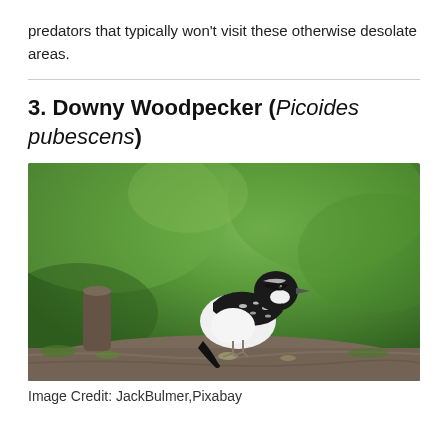predators that typically won't visit these otherwise desolate areas.
3. Downy Woodpecker (Picoides pubescens)
[Figure (photo): A Downy Woodpecker perched on a mossy log, showing black and white plumage, against a blurred green background.]
Image Credit: JackBulmer,Pixabay